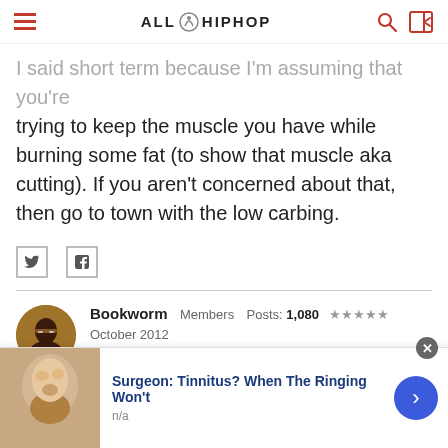ALLHIPHOP
I said short term because I'm assuming that you're trying to keep the muscle you have while burning some fat (to show that muscle aka cutting). If you aren't concerned about that, then go to town with the low carbing.
Bookworm   Members   Posts: 1,080   ★★★★★
October 2012
leftcoastkev wrote: »
Surgeon: Tinnitus? When The Ringing Won't
n/a